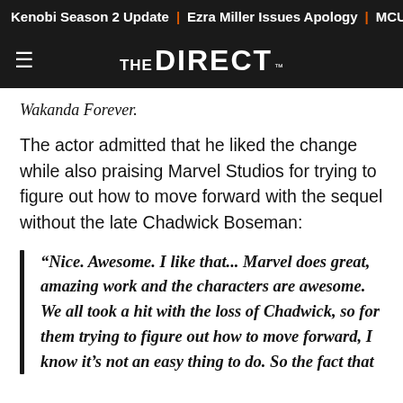Kenobi Season 2 Update | Ezra Miller Issues Apology | MCU Phase
[Figure (logo): The Direct website logo with hamburger menu icon on dark background]
Wakanda Forever.
The actor admitted that he liked the change while also praising Marvel Studios for trying to figure out how to move forward with the sequel without the late Chadwick Boseman:
“Nice. Awesome. I like that... Marvel does great, amazing work and the characters are awesome. We all took a hit with the loss of Chadwick, so for them trying to figure out how to move forward, I know it’s not an easy thing to do. So the fact that